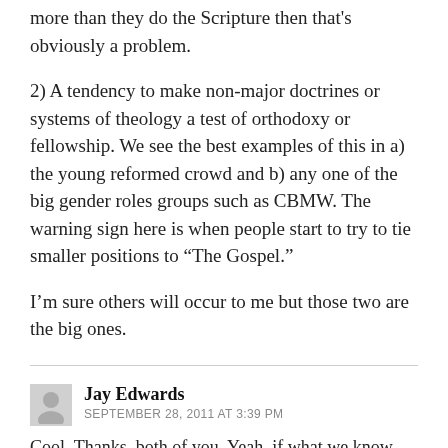more than they do the Scripture then that's obviously a problem.
2) A tendency to make non-major doctrines or systems of theology a test of orthodoxy or fellowship. We see the best examples of this in a) the young reformed crowd and b) any one of the big gender roles groups such as CBMW. The warning sign here is when people start to try to tie smaller positions to “The Gospel.”
I’m sure others will occur to me but those two are the big ones.
Jay Edwards
SEPTEMBER 28, 2011 AT 3:39 PM
Cool. Thanks, both of you. Yeah, if what we know about it and how we should handle it...